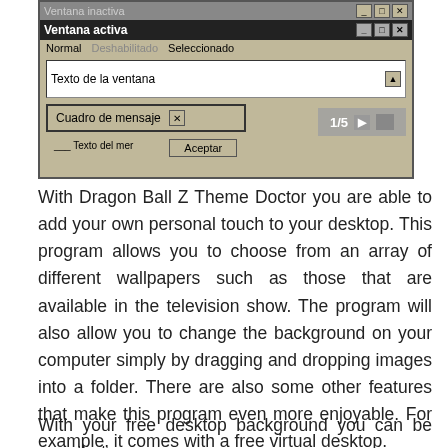[Figure (screenshot): Screenshot of a window theme customization UI (Dragon Ball Z Theme Doctor) showing inactive/active window title bars, menu bar with Normal/Deshabilitado/Seleccionado options, a text field 'Texto de la ventana', a message box 'Cuadro de mensaje', and a 1/5 page counter overlay.]
With Dragon Ball Z Theme Doctor you are able to add your own personal touch to your desktop. This program allows you to choose from an array of different wallpapers such as those that are available in the television show. The program will also allow you to change the background on your computer simply by dragging and dropping images into a folder. There are also some other features that make this program even more enjoyable. For example, it comes with a free virtual desktop.
With your free desktop background you can be sure that